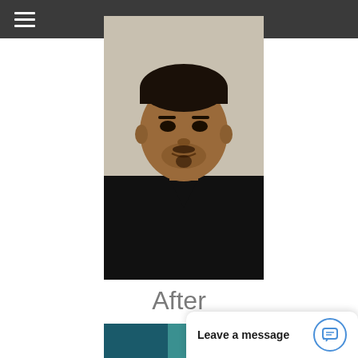≡
[Figure (photo): Portrait photo of a man wearing a black v-neck shirt against a light background]
After
[Figure (photo): Partial photo visible at bottom of page, teal/green background]
Leave a message